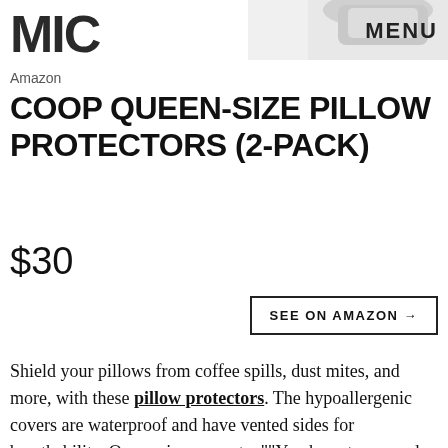[Figure (photo): Partial product image at top right, appears to be a white pillow or pillow protector]
MIC
MENU
Amazon
COOP QUEEN-SIZE PILLOW PROTECTORS (2-PACK)
$30
SEE ON AMAZON →
Shield your pillows from coffee spills, dust mites, and more, with these pillow protectors. The hypoallergenic covers are waterproof and have vented sides for breathability. One reviewer wrote, ""You have to see and feel this pillow protector to understand just how good it is [...] it looks and feels